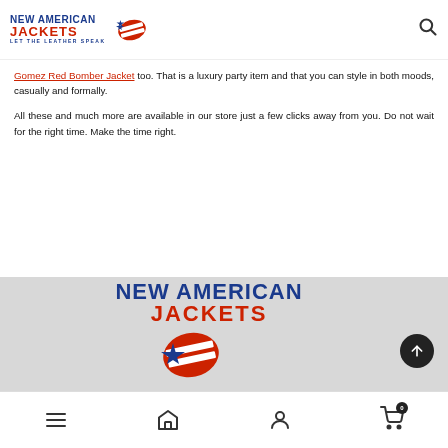New American Jackets — Let The Leather Speak
Gomez Red Bomber Jacket too. That is a luxury party item and that you can style in both moods, casually and formally.
All these and much more are available in our store just a few clicks away from you. Do not wait for the right time. Make the time right.
[Figure (logo): New American Jackets logo in footer gray area]
Bottom navigation bar with menu, home, account, and cart icons